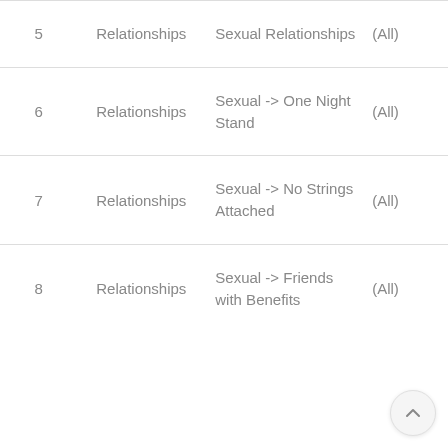| # | Category | Subcategory | Filter |
| --- | --- | --- | --- |
| 5 | Relationships | Sexual Relationships | (All) |
| 6 | Relationships | Sexual -> One Night Stand | (All) |
| 7 | Relationships | Sexual -> No Strings Attached | (All) |
| 8 | Relationships | Sexual -> Friends with Benefits | (All) |